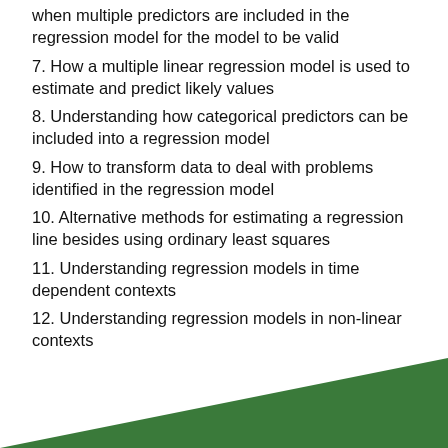when multiple predictors are included in the regression model for the model to be valid
7. How a multiple linear regression model is used to estimate and predict likely values
8. Understanding how categorical predictors can be included into a regression model
9. How to transform data to deal with problems identified in the regression model
10. Alternative methods for estimating a regression line besides using ordinary least squares
11. Understanding regression models in time dependent contexts
12. Understanding regression models in non-linear contexts
[Figure (illustration): Green decorative triangle/wedge shape in the bottom-right corner of the page, forming a footer design element]